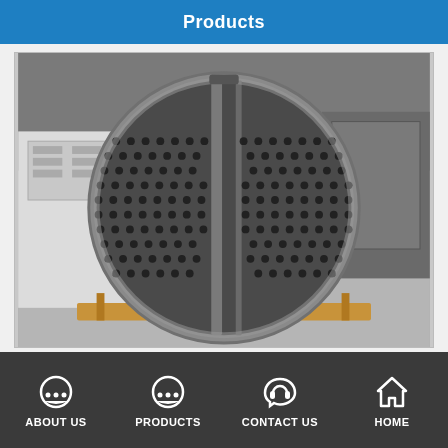Products
[Figure (photo): Large circular tube sheet (heat exchanger end plate) with hundreds of tube holes arranged in a hexagonal pattern, photographed in an industrial manufacturing workshop. The round metal plate sits on wooden pallets on a concrete floor, surrounded by machinery.]
ABOUT US   PRODUCTS   CONTACT US   HOME